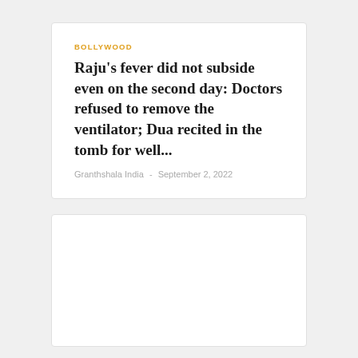BOLLYWOOD
Raju's fever did not subside even on the second day: Doctors refused to remove the ventilator; Dua recited in the tomb for well...
Granthshala India  -  September 2, 2022